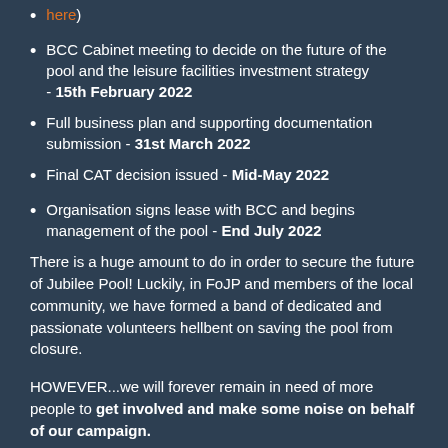here) [orange link at top]
BCC Cabinet meeting to decide on the future of the pool and the leisure facilities investment strategy - 15th February 2022
Full business plan and supporting documentation submission - 31st March 2022
Final CAT decision issued - Mid-May 2022
Organisation signs lease with BCC and begins management of the pool - End July 2022
There is a huge amount to do in order to secure the future of Jubilee Pool! Luckily, in FoJP and members of the local community, we have formed a band of dedicated and passionate volunteers hellbent on saving the pool from closure.
HOWEVER...we will forever remain in need of more people to get involved and make some noise on behalf of our campaign.
Find out what we've been doing since September 2021